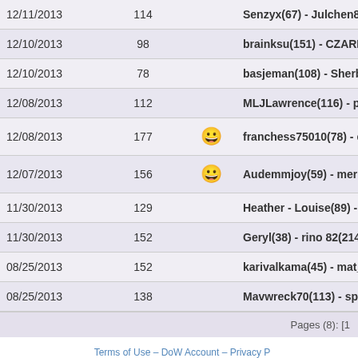| Date | Score |  | Players |
| --- | --- | --- | --- |
| 12/11/2013 | 114 |  | Senzyx(67) - Julchen88(144) |
| 12/10/2013 | 98 |  | brainksu(151) - CZARR(114) |
| 12/10/2013 | 78 |  | basjeman(108) - Sherbet(96) |
| 12/08/2013 | 112 |  | MLJLawrence(116) - pthorn3 |
| 12/08/2013 | 177 | smiley | franchess75010(78) - crevett |
| 12/07/2013 | 156 | smiley | Audemmjoy(59) - meriafisch |
| 11/30/2013 | 129 |  | Heather - Louise(89) - tomth |
| 11/30/2013 | 152 |  | Geryl(38) - rino 82(214) - WA |
| 08/25/2013 | 152 |  | karivalkama(45) - mat_mat13 |
| 08/25/2013 | 138 |  | Mavwreck70(113) - spadeaw |
Pages (8): [1
Terms of Use – DoW Account – Privacy P
Copyright ©2002-